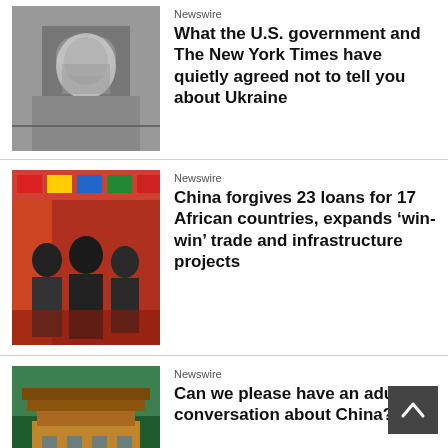[Figure (photo): Portrait photo of a man with dark hair, serious expression, gray background]
Newswire
What the U.S. government and The New York Times have quietly agreed not to tell you about Ukraine
[Figure (photo): Photo of people at a formal meeting with colorful flags in background]
Newswire
China forgives 23 loans for 17 African countries, expands ‘win-win’ trade and infrastructure projects
[Figure (photo): Colorful artistic image of a traditional Chinese building or market]
Newswire
Can we please have an adult conversation about China?
[Figure (photo): Black and white portrait photo of Mao Zedong]
Monthly Review Essays
A Unity of Opposites: The Dengist and the Red Guard
[Figure (photo): Partial photo at bottom of page, partially cut off]
News